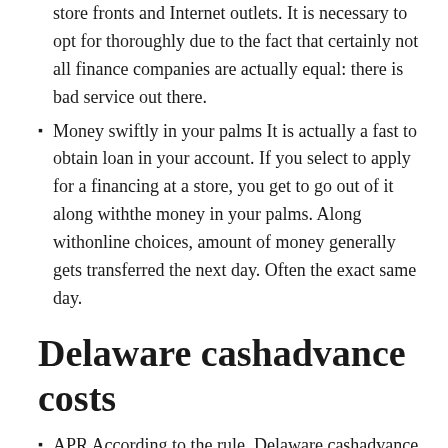store fronts and Internet outlets. It is necessary to opt for thoroughly due to the fact that certainly not all finance companies are actually equal: there is bad service out there.
Money swiftly in your palms It is actually a fast to obtain loan in your account. If you select to apply for a financing at a store, you get to go out of it along withthe money in your palms. Along withonline choices, amount of money generally gets transferred the next day. Often the exact same day.
Delaware cashadvance costs
APR According to the rule, Delaware cashadvance may charge passion daily,